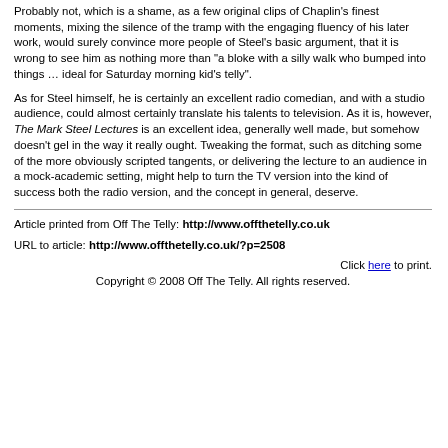Probably not, which is a shame, as a few original clips of Chaplin's finest moments, mixing the silence of the tramp with the engaging fluency of his later work, would surely convince more people of Steel's basic argument, that it is wrong to see him as nothing more than "a bloke with a silly walk who bumped into things … ideal for Saturday morning kid's telly".
As for Steel himself, he is certainly an excellent radio comedian, and with a studio audience, could almost certainly translate his talents to television. As it is, however, The Mark Steel Lectures is an excellent idea, generally well made, but somehow doesn't gel in the way it really ought. Tweaking the format, such as ditching some of the more obviously scripted tangents, or delivering the lecture to an audience in a mock-academic setting, might help to turn the TV version into the kind of success both the radio version, and the concept in general, deserve.
Article printed from Off The Telly: http://www.offthetelly.co.uk
URL to article: http://www.offthetelly.co.uk/?p=2508
Click here to print.
Copyright © 2008 Off The Telly. All rights reserved.